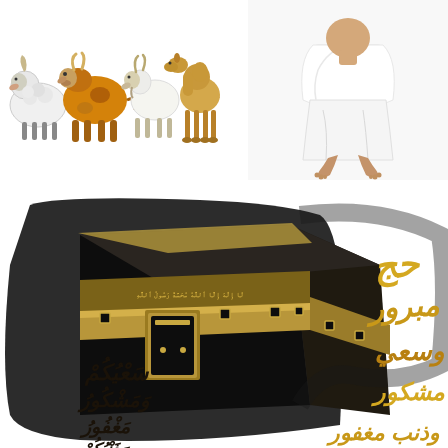[Figure (illustration): Cartoon illustration of Eid al-Adha sacrificial animals: a white sheep, an orange/brown cow, a white goat, and a camel, standing together.]
[Figure (photo): Photo of a person wearing white Ihram garments for Hajj, barefoot, lower body visible against white background.]
[Figure (illustration): Illustration of the Kaaba (holy cube structure in Mecca) in black and gold with Arabic calligraphy blessing text for Hajj/Eid: حج مبرور وسعي مشكور وذنب مغفور (Accepted Hajj, appreciated effort, and forgiven sins), in gold and dark colors.]